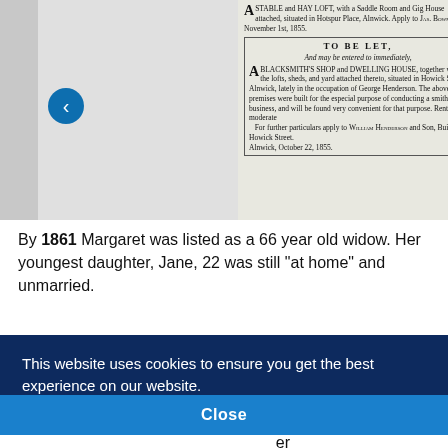[Figure (photo): Scanned newspaper clipping showing rental advertisements including a stable and hay loft advertisement and a 'TO BE LET' advertisement for a blacksmith's shop and dwelling house in Howick Street, Alnwick, October 22, 1855. A navigation arrow button is visible on the left side.]
By 1861 Margaret was listed as a 66 year old widow. Her youngest daughter, Jane, 22 was still "at home" and unmarried.
This website uses cookies to ensure you get the best experience on our website. Learn More
Close
ber 5.
er
employing 1 man and 1 apprentice. His wife Mary, was also 59